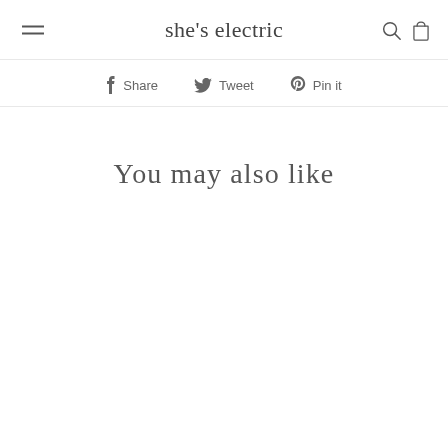she's electric
Share  Tweet  Pin it
You may also like